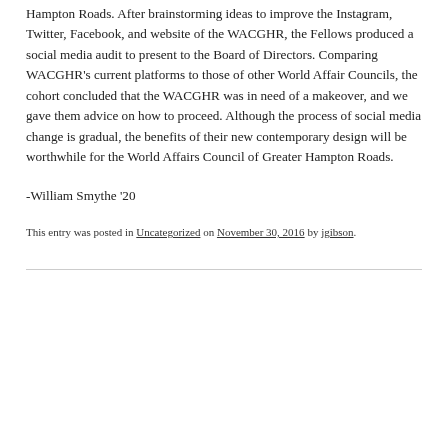Hampton Roads. After brainstorming ideas to improve the Instagram, Twitter, Facebook, and website of the WACGHR, the Fellows produced a social media audit to present to the Board of Directors. Comparing WACGHR's current platforms to those of other World Affair Councils, the cohort concluded that the WACGHR was in need of a makeover, and we gave them advice on how to proceed. Although the process of social media change is gradual, the benefits of their new contemporary design will be worthwhile for the World Affairs Council of Greater Hampton Roads.
-William Smythe '20
This entry was posted in Uncategorized on November 30, 2016 by jgibson.